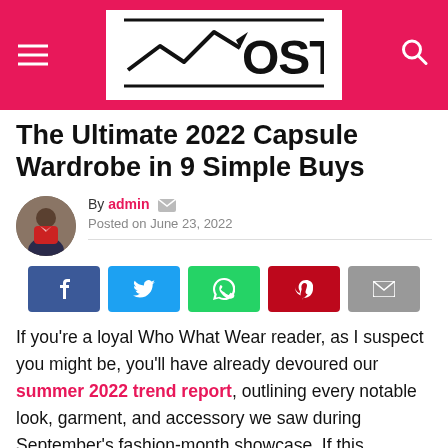[Figure (logo): OSTN website header logo with hamburger menu on left, OSTN logo in center on white background, search icon on right, all on pink/red background]
The Ultimate 2022 Capsule Wardrobe in 9 Simple Buys
By admin  Posted on June 23, 2022
[Figure (infographic): Social sharing buttons: Facebook (blue), Twitter (light blue), WhatsApp (green), Pinterest (red), Email (grey)]
If you’re a loyal Who What Wear reader, as I suspect you might be, you’ll have already devoured our summer 2022 trend report, outlining every notable look, garment, and accessory we saw during September’s fashion-month showcase. If this, however, is not the case, I suggest you take a look at it and meet me back here once you’re up to speed.